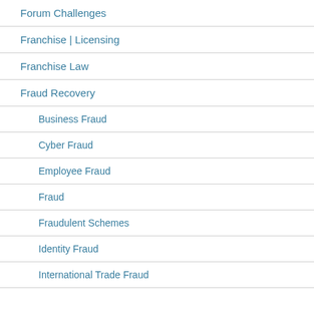Forum Challenges
Franchise | Licensing
Franchise Law
Fraud Recovery
Business Fraud
Cyber Fraud
Employee Fraud
Fraud
Fraudulent Schemes
Identity Fraud
International Trade Fraud